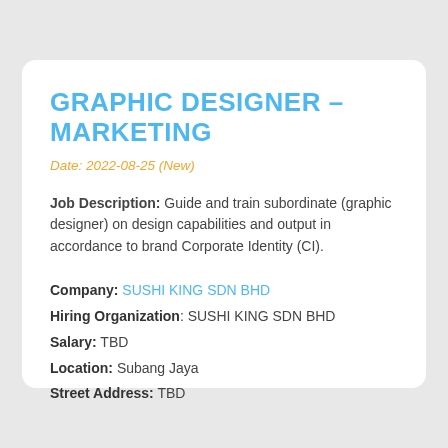GRAPHIC DESIGNER – MARKETING
Date: 2022-08-25 (New)
Job Description: Guide and train subordinate (graphic designer) on design capabilities and output in accordance to brand Corporate Identity (CI).
Company: SUSHI KING SDN BHD
Hiring Organization: SUSHI KING SDN BHD
Salary: TBD
Location: Subang Jaya
Street Address: TBD